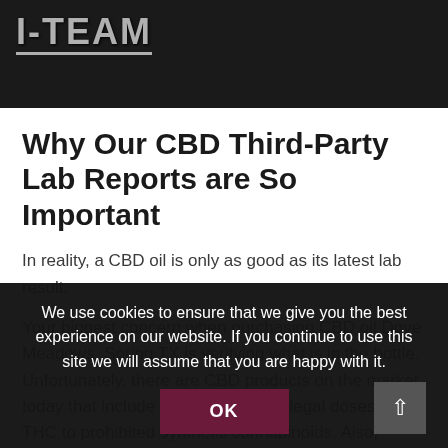[Figure (photo): Dark hero banner image with 'I-TEAM' logo text in grey on dark background]
Why Our CBD Third-Party Lab Reports are So Important
In reality, a CBD oil is only as good as its latest lab result.
Your biggest concern when purchasing CBD oil Dove Meadows, Spring TX is verifying what is in the bottle. Unfortunately, there are CBD products on the market today that include everything from illegal doses of THC to prohibited synthetic cannabinoids. Also, perhaps not
We use cookies to ensure that we give you the best experience on our website. If you continue to use this site we will assume that you are happy with it.